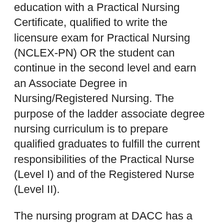education with a Practical Nursing Certificate, qualified to write the licensure exam for Practical Nursing (NCLEX-PN) OR the student can continue in the second level and earn an Associate Degree in Nursing/Registered Nursing. The purpose of the ladder associate degree nursing curriculum is to prepare qualified graduates to fulfill the current responsibilities of the Practical Nurse (Level I) and of the Registered Nurse (Level II).
The nursing program at DACC has a great reputation for excellence and quality, including high pass rate on the national exams for licensure. In addition, students can work as nurses (LPN's) while completing an RN education. AND, the classes can be completed at community college costs - a fraction of the expense of a university or private college. For these reasons and many others, our graduates are readily employed in hospitals, clinics, physicians' offices, school, industries, and many other settings across the country.